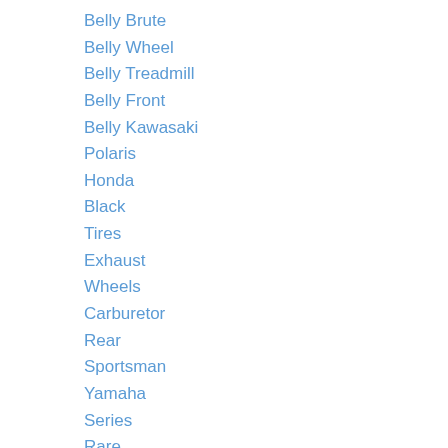Belly Brute
Belly Wheel
Belly Treadmill
Belly Front
Belly Kawasaki
Polaris
Honda
Black
Tires
Exhaust
Wheels
Carburetor
Rear
Sportsman
Yamaha
Series
Rare
Brute
Wheel
Treadmill
Front
Kawasaki